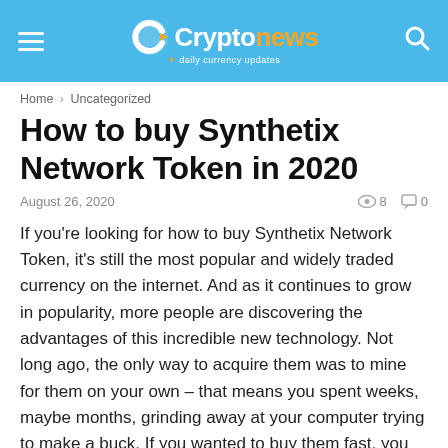Cryptonews · daily currency updates
Home › Uncategorized
How to buy Synthetix Network Token in 2020
August 26, 2020   👁 8   💬 0
If you're looking for how to buy Synthetix Network Token, it's still the most popular and widely traded currency on the internet. And as it continues to grow in popularity, more people are discovering the advantages of this incredible new technology. Not long ago, the only way to acquire them was to mine for them on your own – that means you spent weeks, maybe months, grinding away at your computer trying to make a buck. If you wanted to buy them fast, you had to be an advanced computer hacker – but if you wanted to learn about